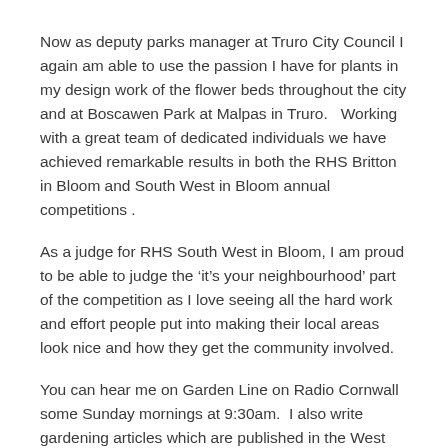Now as deputy parks manager at Truro City Council I again am able to use the passion I have for plants in my design work of the flower beds throughout the city and at Boscawen Park at Malpas in Truro.   Working with a great team of dedicated individuals we have achieved remarkable results in both the RHS Britton in Bloom and South West in Bloom annual competitions .
As a judge for RHS South West in Bloom, I am proud to be able to judge the ‘it’s your neighbourhood’ part of the competition as I love seeing all the hard work and effort people put into making their local areas look nice and how they get the community involved.
You can hear me on Garden Line on Radio Cornwall some Sunday mornings at 9:30am.  I also write gardening articles which are published in the West Britton every other week.